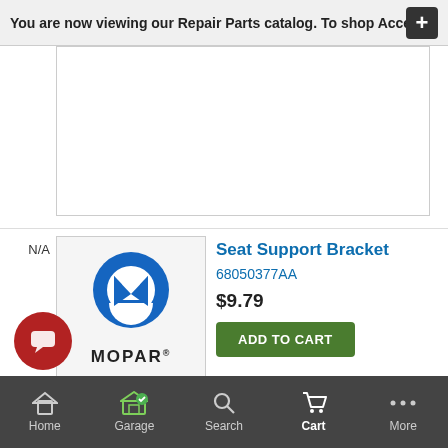You are now viewing our Repair Parts catalog. To shop Accessori
[Figure (other): Blank advertisement or image placeholder box]
[Figure (logo): MOPAR logo — blue M-circle and MOPAR text — with N/A quantity label]
Seat Support Bracket
68050377AA
$9.79
ADD TO CART
[Figure (other): Blank product image placeholder with quantity label 1]
Prop Shaft Support
68038997AB
Center Bearing.
$40.53
Home  Garage  Search  Cart  More